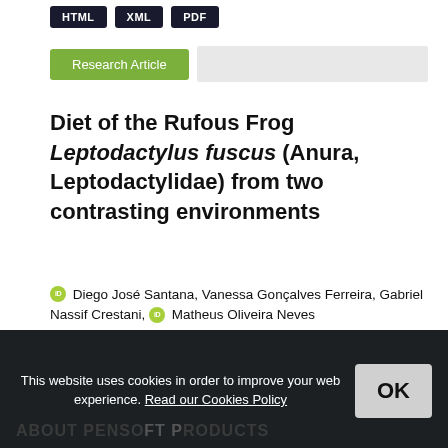[Figure (screenshot): Three dark buttons labeled HTML, XML, PDF at top of page]
Research Article
Diet of the Rufous Frog Leptodactylus fuscus (Anura, Leptodactylidae) from two contrasting environments
Diego José Santana, Vanessa Gonçalves Ferreira, Gabriel Nassif Crestani, [ORCID] Matheus Oliveira Neves
10.3897/herpetozoa.32.e35623
13-05-2019
Unique: 2013 | Total: 3279
1-6
HTML XML PDF (buttons)
This website uses cookies in order to improve your web experience. Read our Cookies Policy
OK
ABOUT PENSOFT PRODUCTS